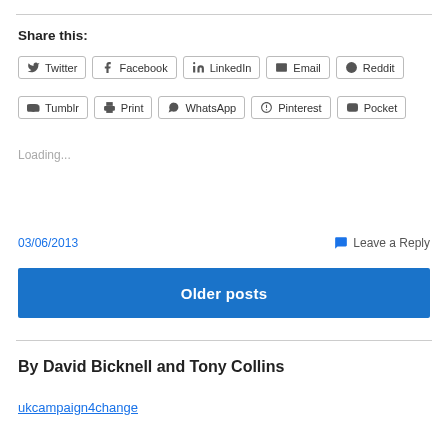Share this:
Twitter | Facebook | LinkedIn | Email | Reddit | Tumblr | Print | WhatsApp | Pinterest | Pocket
Loading...
03/06/2013
Leave a Reply
Older posts
By David Bicknell and Tony Collins
ukcampaign4change